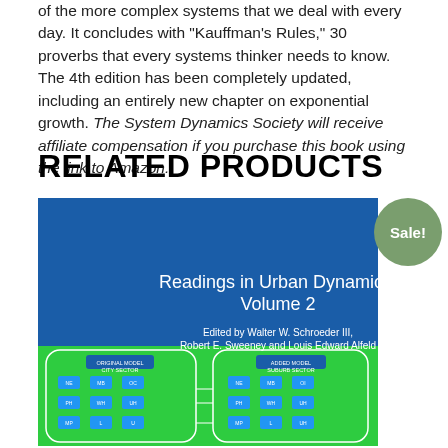of the more complex systems that we deal with every day. It concludes with "Kauffman's Rules," 30 proverbs that every systems thinker needs to know. The 4th edition has been completely updated, including an entirely new chapter on exponential growth. The System Dynamics Society will receive affiliate compensation if you purchase this book using the link to Amazon.
RELATED PRODUCTS
[Figure (photo): Book cover of 'Readings in Urban Dynamics: Volume 2', edited by Walter W. Schroeder III, Robert E. Sweeney and Louis Edward Alfeld. Blue and green cover with a systems diagram on the lower half.]
Sale!